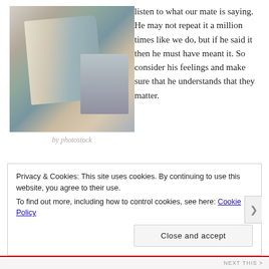[Figure (photo): Two people sitting together, one holding an open book with pages fanned out, close-up of hands and book pages]
by photostock
listen to what our mate is saying. He may not repeat it a million times like we do, but if he said it then he must have meant it. So consider his feelings and make sure that he understands that they matter.
Privacy & Cookies: This site uses cookies. By continuing to use this website, you agree to their use.
To find out more, including how to control cookies, see here: Cookie Policy
Close and accept